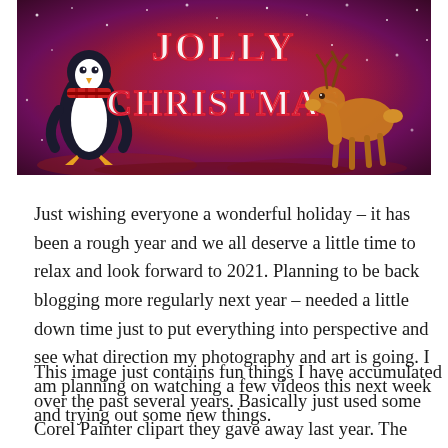[Figure (illustration): A festive Christmas banner illustration with a purple/red glittery background showing a penguin on the left wearing a scarf, 'JOLLY CHRISTMAS' text in the center in stylized lettering, and a reindeer on the right with stars scattered throughout.]
Just wishing everyone a wonderful holiday – it has been a rough year and we all deserve a little time to relax and look forward to 2021. Planning to be back blogging more regularly next year – needed a little down time just to put everything into perspective and see what direction my photography and art is going. I am planning on watching a few videos this next week and trying out some new things.
This image just contains fun things I have accumulated over the past several years. Basically just used some Corel Painter clipart they gave away last year. The Santa and reindeer in the sky is from a brush I created a few